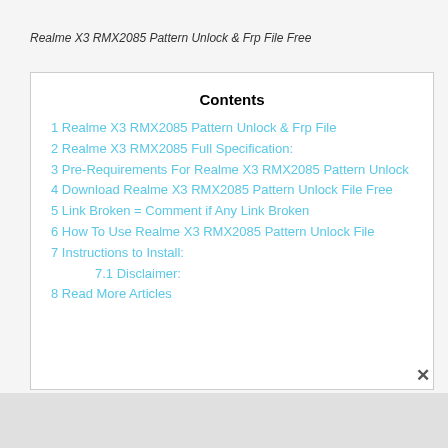Realme X3 RMX2085 Pattern Unlock & Frp File Free
Contents
1 Realme X3 RMX2085 Pattern Unlock & Frp File
2 Realme X3 RMX2085 Full Specification:
3 Pre-Requirements For Realme X3 RMX2085 Pattern Unlock
4 Download Realme X3 RMX2085 Pattern Unlock File Free
5 Link Broken = Comment if Any Link Broken
6 How To Use Realme X3 RMX2085 Pattern Unlock File
7 Instructions to Install:
7.1 Disclaimer:
8 Read More Articles